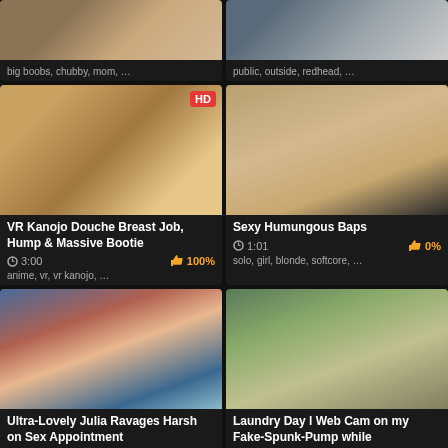[Figure (photo): Video thumbnail – top of page, left card (partial), dark]
big boobs, chubby, mom, …
[Figure (photo): Video thumbnail – top of page, right card (partial), dark]
public, outside, redhead, …
[Figure (photo): VR anime character shower scene, HD badge]
VR Kanojo Douche Breast Job, Hump & Massive Bootie
3:00   100%
anime, vr, vr kanojo, …
[Figure (photo): Blonde woman solo cam video thumbnail]
Sexy Humungous Baps
1:01   0%
solo, girl, blonde, softcore, …
[Figure (photo): Woman in bikini on bed]
Ultra-Lovely Julia Ravages Harsh on Sex Appointment
2:30   0%
[Figure (photo): Person on webcam, face blurred]
Laundry Day l Web Cam on my Fake-Spunk-Pump while
1:36   0%